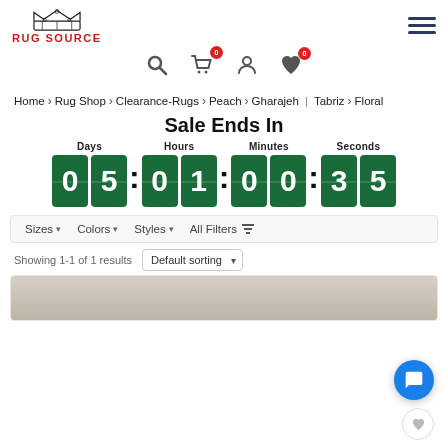[Figure (logo): Rug Source logo with crown icon and red text]
[Figure (infographic): Navigation icons: search, cart (badge 0), user, wishlist (badge 0)]
Home > Rug Shop > Clearance-Rugs > Peach > Gharajeh | Tabriz > Floral
Sale Ends In
[Figure (infographic): Countdown timer showing 05 days : 01 hours : 00 minutes : 35 seconds with green and black flip-clock style digits]
[Figure (infographic): Filter bar with Sizes, Colors, Styles dropdowns and All Filters button]
Showing 1-1 of 1 results   Default sorting
[Figure (photo): Partial product image at bottom of page]